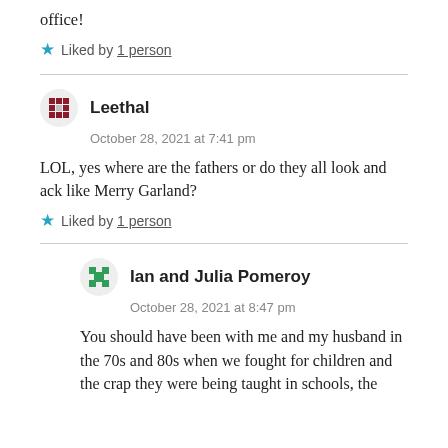office!
★ Liked by 1 person
Leethal
October 28, 2021 at 7:41 pm

LOL, yes where are the fathers or do they all look and ack like Merry Garland?

★ Liked by 1 person
Ian and Julia Pomeroy
October 28, 2021 at 8:47 pm

You should have been with me and my husband in the 70s and 80s when we fought for children and the crap they were being taught in schools, the